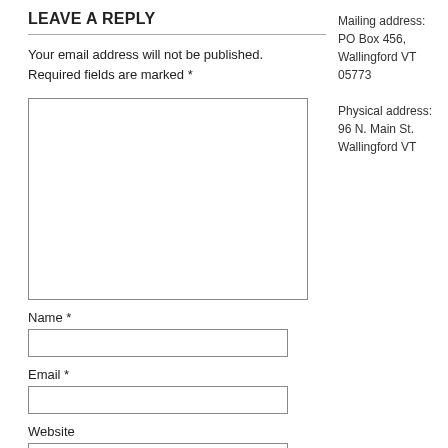LEAVE A REPLY
Your email address will not be published. Required fields are marked *
Mailing address: PO Box 456, Wallingford VT 05773
Physical address: 96 N. Main St. Wallingford VT
Name *
Email *
Website